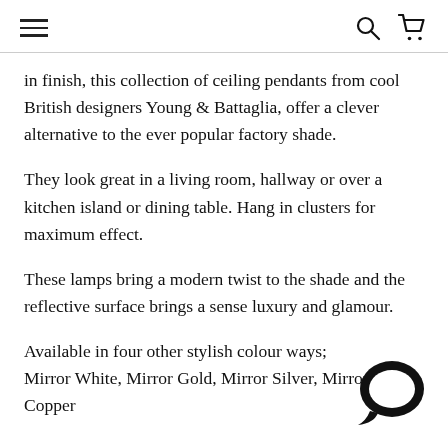Navigation header with hamburger menu, search icon, and cart icon
in finish, this collection of ceiling pendants from cool British designers Young & Battaglia, offer a clever alternative to the ever popular factory shade.
They look great in a living room, hallway or over a kitchen island or dining table. Hang in clusters for maximum effect.
These lamps bring a modern twist to the shade and the reflective surface brings a sense luxury and glamour.
Available in four other stylish colour ways; Mirror White, Mirror Gold, Mirror Silver, Mirror Copper